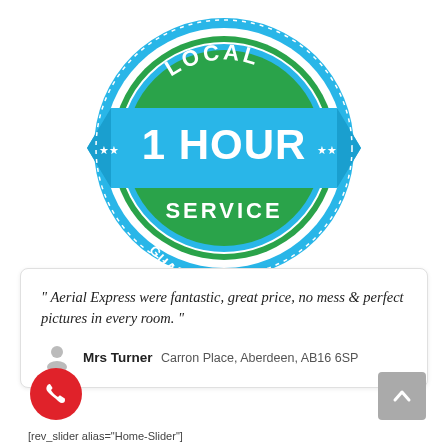[Figure (logo): Circular badge/seal with light blue outer ring, green inner circle, and a light blue ribbon banner across the middle. Text reads 'LOCAL' at the top in green circle, '**1 HOUR**' on the blue ribbon banner in large bold white text, 'SERVICE' in the green circle below, and 'GUARANTEED' inverted at the bottom of the green circle.]
" Aerial Express were fantastic, great price, no mess & perfect pictures in every room. "
Mrs Turner  Carron Place, Aberdeen, AB16 6SP
[rev_slider alias="Home-Slider"]